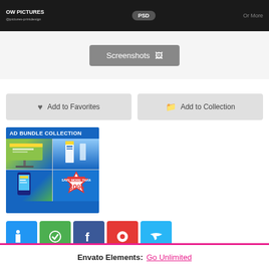[Figure (screenshot): Dark top banner with OW PICTURES brand, PSD badge, and Or More text]
[Figure (screenshot): Screenshots button with image icon on grey background]
Add to Favorites
Add to Collection
[Figure (illustration): AD BUNDLE COLLECTION promotional image with billboard, roll-up banners, mobile and 30% savings badge on blue background]
[Figure (screenshot): Row of social media icon buttons: blue, green, Facebook, red/Pinterest, light blue/Twitter]
Envato Elements:  Go Unlimited